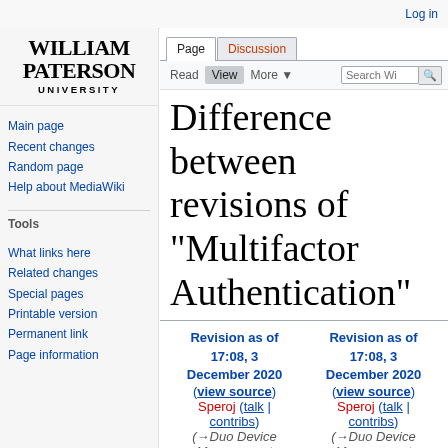Log in
[Figure (logo): William Paterson University logo in black serif text]
Main page
Recent changes
Random page
Help about MediaWiki
Tools
What links here
Related changes
Special pages
Printable version
Permanent link
Page information
Difference between revisions of "Multifactor Authentication"
Revision as of 17:08, 3 December 2020 (view source) Speroj (talk | contribs) (→Duo Device Management
Revision as of 17:08, 3 December 2020 (view source) Speroj (talk | contribs) (→Duo Device Management